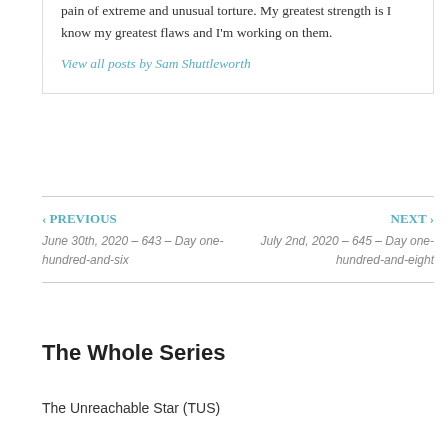pain of extreme and unusual torture. My greatest strength is I know my greatest flaws and I'm working on them.
View all posts by Sam Shuttleworth
‹ PREVIOUS
June 30th, 2020 – 643 – Day one-hundred-and-six
NEXT ›
July 2nd, 2020 – 645 – Day one-hundred-and-eight
The Whole Series
The Unreachable Star (TUS)